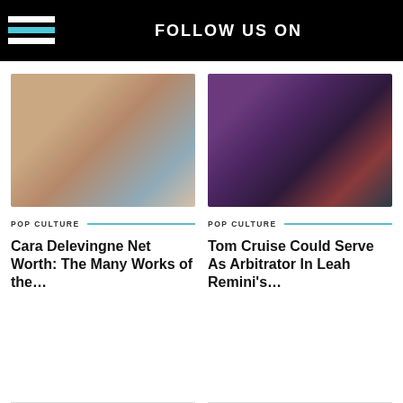FOLLOW US ON
[Figure (photo): Blurred photo of Cara Delevingne with warm tan/beige tones and blue background]
[Figure (photo): Blurred dark photo with purple and dark teal tones, subject with reddish-brown hair]
POP CULTURE
POP CULTURE
Cara Delevingne Net Worth: The Many Works of the…
Tom Cruise Could Serve As Arbitrator In Leah Remini's…